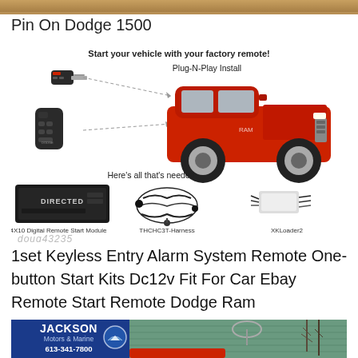[Figure (photo): Top decorative banner/image strip showing a warm brown/tan surface, partially visible at page top]
Pin On Dodge 1500
[Figure (infographic): Infographic showing how to start vehicle with factory remote. Shows car keys/fobs on left with dashed arrows pointing to a red Dodge Ram 1500 pickup truck. Text: 'Start your vehicle with your factory remote!', 'Plug-N-Play Install', 'Here's all that's needed'. Bottom row shows: 4X10 Digital Remote Start Module (DIRECTED brand black module), THCHC3T-Harness (wiring harness), XKLoader2 (small cable device). Watermark: doug43235]
1set Keyless Entry Alarm System Remote One-button Start Kits Dc12v Fit For Car Ebay Remote Start Remote Dodge Ram
[Figure (photo): Photo of Jackson Motors & Marine dealership building exterior. Blue sign with white text reading 'JACKSON Motors & Marine' with boat logo, phone number 613-341-7800. Building has green/teal metal siding. Bare trees and red vehicle partially visible.]